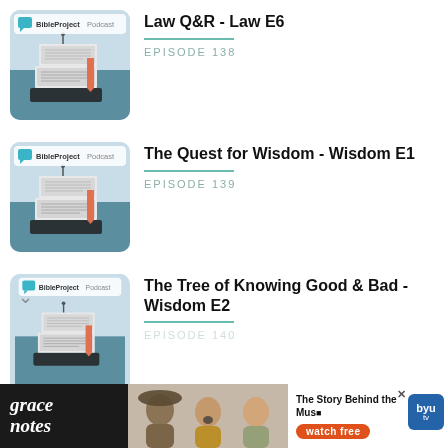[Figure (screenshot): BibleProject Podcast thumbnail showing stacked open books illustration]
Law Q&R - Law E6
EPISODE 138
[Figure (screenshot): BibleProject Podcast thumbnail showing stacked open books illustration]
The Quest for Wisdom - Wisdom E1
EPISODE 139
[Figure (screenshot): BibleProject Podcast thumbnail showing stacked open books illustration]
The Tree of Knowing Good & Bad - Wisdom E2
EPISODE 140
[Figure (infographic): Advertisement banner for Grace Notes - The Story Behind the Music, watch free on BYUtv]